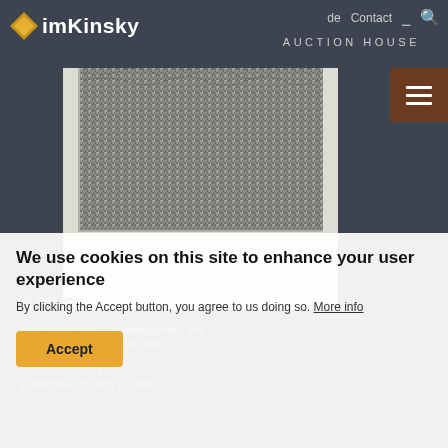imKinsky AUCTION HOUSE | de | Contact
[Figure (photo): Artwork by Gunther Uecker titled 'Destruktion II, 1981' — a dense textured surface of nails or similar elements creating a dark chaotic pattern, printed on white paper, displayed against a dark grey background.]
0013
108th Auction - Contemporary Art
06. October 2015, 2:00 pm
Gunther Uecker
Destruktion II., 1981
Estimate: €1.000 – 2.000
We use cookies on this site to enhance your user experience
By clicking the Accept button, you agree to us doing so. More info
Accept